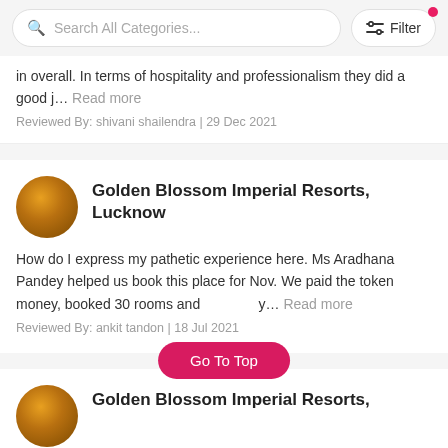Search All Categories...  Filter
in overall. In terms of hospitality and professionalism they did a good j... Read more
Reviewed By: shivani shailendra | 29 Dec 2021
Golden Blossom Imperial Resorts, Lucknow
How do I express my pathetic experience here. Ms Aradhana Pandey helped us book this place for Nov. We paid the token money, booked 30 rooms and ...y... Read more
Reviewed By: ankit tandon | 18 Jul 2021
Golden Blossom Imperial Resorts,